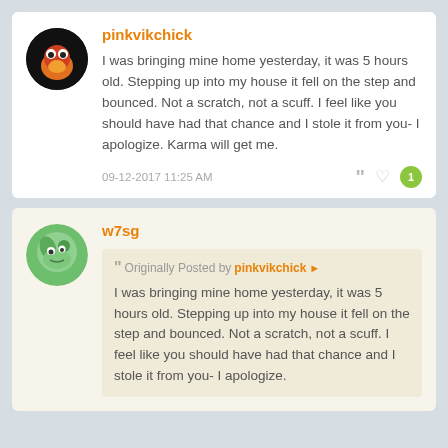pinkvikchick
I was bringing mine home yesterday, it was 5 hours old. Stepping up into my house it fell on the step and bounced. Not a scratch, not a scuff. I feel like you should have had that chance and I stole it from you- I apologize. Karma will get me.
09-12-2017 11:25 AM
w7sg
Originally Posted by pinkvikchick
I was bringing mine home yesterday, it was 5 hours old. Stepping up into my house it fell on the step and bounced. Not a scratch, not a scuff. I feel like you should have had that chance and I stole it from you- I apologize.